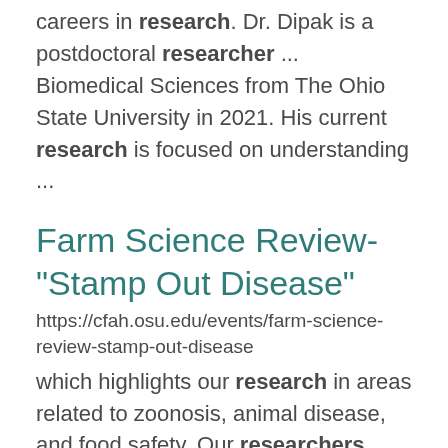careers in research. Dr. Dipak is a postdoctoral researcher ... Biomedical Sciences from The Ohio State University in 2021. His current research is focused on understanding ...
Farm Science Review- "Stamp Out Disease"
https://cfah.osu.edu/events/farm-science-review-stamp-out-disease
which highlights our research in areas related to zoonosis, animal disease, and food safety. Our researchers, staff, ...
GSU/CFAH welcomes CFAH alum